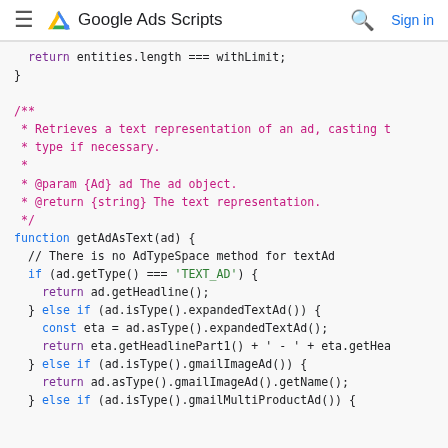Google Ads Scripts
[Figure (screenshot): Google Ads Scripts website header with hamburger menu icon, Google Ads logo, site title, search icon, and Sign in link]
Code snippet showing JavaScript functions for Google Ads Scripts including: return entities.length === withLimit; closing brace; JSDoc comment block for getAdAsText function; function getAdAsText(ad) with conditionals for TEXT_AD type, expandedTextAd, gmailImageAd, and gmailMultiProductAd